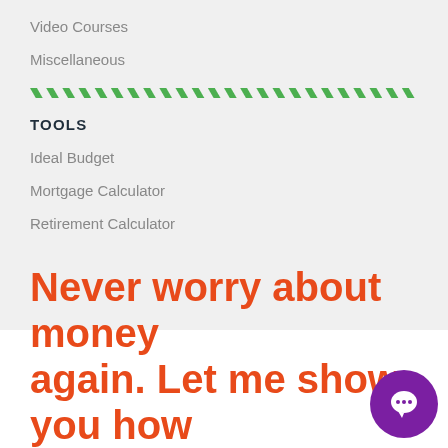Video Courses
Miscellaneous
TOOLS
Ideal Budget
Mortgage Calculator
Retirement Calculator
Never worry about money again. Let me show you how